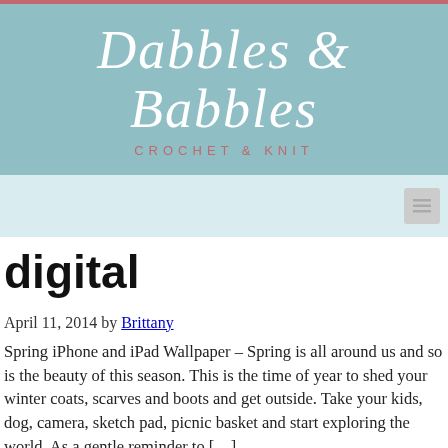Dabbles & Babbles — CROCHET & KNIT
digital
April 11, 2014 by Brittany
Spring iPhone and iPad Wallpaper – Spring is all around us and so is the beauty of this season. This is the time of year to shed your winter coats, scarves and boots and get outside. Take your kids, dog, camera, sketch pad, picnic basket and start exploring the world. As a gentle reminder to […]
July 17, 2013 by Brittany
Blue Theme – iPhone Wallpaper and Background – Is your iPhone like another appendage of your body?  Mine definitely is for better or for worse. I wouldn't even want to take a guess at how many times I use my phone each day… I'm sure it would be a bit scary.  That